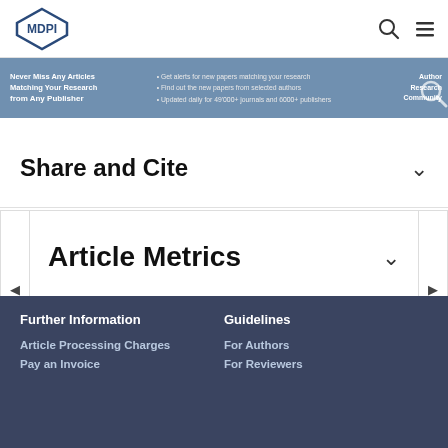MDPI
[Figure (screenshot): MDPI website banner advertising article alerts: Never Miss Any Articles Matching Your Research from Any Publisher. Get alerts for new papers matching your research. Find out the new papers from selected authors. Updated daily for 49000+ journals and 6000+ publishers.]
Share and Cite
Article Metrics
Materials, EISSN 1996-1944, Published by MDPI   Disclaimer
RSS   Content Alert
Further Information
Guidelines
Article Processing Charges
For Authors
Pay an Invoice
For Reviewers